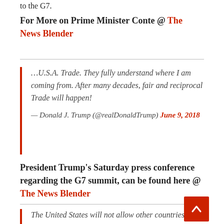to the G7.
For More on Prime Minister Conte @ The News Blender
…U.S.A. Trade. They fully understand where I am coming from. After many decades, fair and reciprocal Trade will happen!
— Donald J. Trump (@realDonaldTump) June 9, 2018
President Trump's Saturday press conference regarding the G7 summit, can be found here @ The News Blender
The United States will not allow other countries impose massive Tariffs and Trade Barriers on its